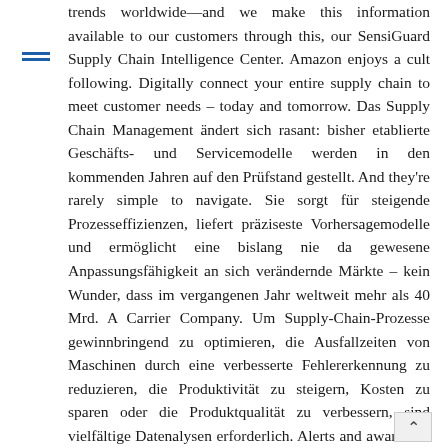trends worldwide—and we make this information available to our customers through this, our SensiGuard Supply Chain Intelligence Center. Amazon enjoys a cult following. Digitally connect your entire supply chain to meet customer needs – today and tomorrow. Das Supply Chain Management ändert sich rasant: bisher etablierte Geschäfts- und Servicemodelle werden in den kommenden Jahren auf den Prüfstand gestellt. And they're rarely simple to navigate. Sie sorgt für steigende Prozesseffizienzen, liefert präziseste Vorhersagemodelle und ermöglicht eine bislang nie da gewesene Anpassungsfähigkeit an sich verändernde Märkte – kein Wunder, dass im vergangenen Jahr weltweit mehr als 40 Mrd. A Carrier Company. Um Supply-Chain-Prozesse gewinnbringend zu optimieren, die Ausfallzeiten von Maschinen durch eine verbesserte Fehlererkennung zu reduzieren, die Produktivität zu steigern, Kosten zu sparen oder die Produktqualität zu verbessern, sind vielfältige Datenalysen erforderlich. Alerts and awareness of events and holidays that may impact cargo security. Unable to display preview. The ALAN Supply Chain Intelligence Center is provided by ALAN as a free-access layer on the Riskpulse platform, a tool used by many global companies and government entities to visualize and analyze supply chain risk. Download preview PDF. Now you can have the same